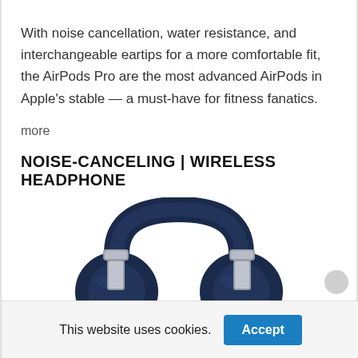With noise cancellation, water resistance, and interchangeable eartips for a more comfortable fit, the AirPods Pro are the most advanced AirPods in Apple’s stable — a must-have for fitness fanatics.
more
NOISE-CANCELING | WIRELESS HEADPHONE
[Figure (photo): Blue over-ear wireless noise-canceling headphone, partially cropped at bottom]
This website uses cookies.